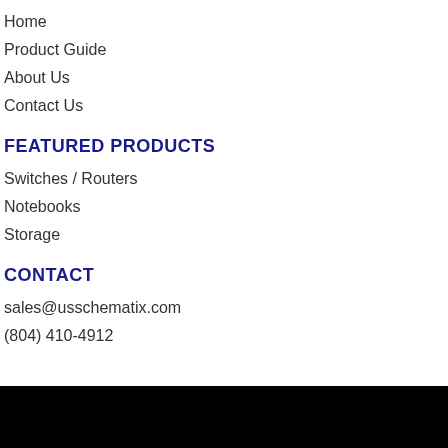Home
Product Guide
About Us
Contact Us
FEATURED PRODUCTS
Switches / Routers
Notebooks
Storage
CONTACT
sales@usschematix.com
(804) 410-4912